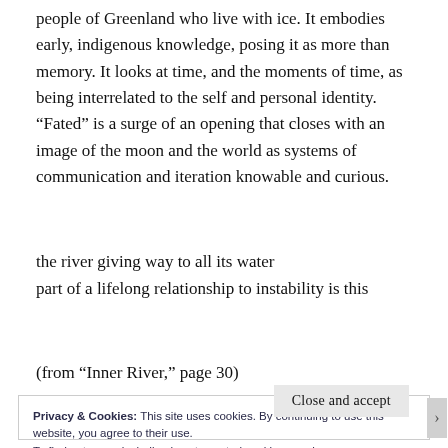people of Greenland who live with ice. It embodies early, indigenous knowledge, posing it as more than memory. It looks at time, and the moments of time, as being interrelated to the self and personal identity. “Fated” is a surge of an opening that closes with an image of the moon and the world as systems of communication and iteration knowable and curious.
the river giving way to all its water
part of a lifelong relationship to instability is this
(from “Inner River,” page 30)
Privacy & Cookies: This site uses cookies. By continuing to use this website, you agree to their use.
To find out more, including how to control cookies, see here:
Cookie Policy